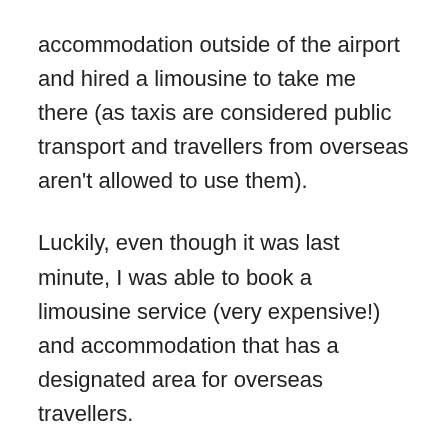accommodation outside of the airport and hired a limousine to take me there (as taxis are considered public transport and travellers from overseas aren't allowed to use them).
Luckily, even though it was last minute, I was able to book a limousine service (very expensive!) and accommodation that has a designated area for overseas travellers.
After staying at the accommodation for one night, I was able to hire a rental car to take me to my mum's place where I will stay for my...